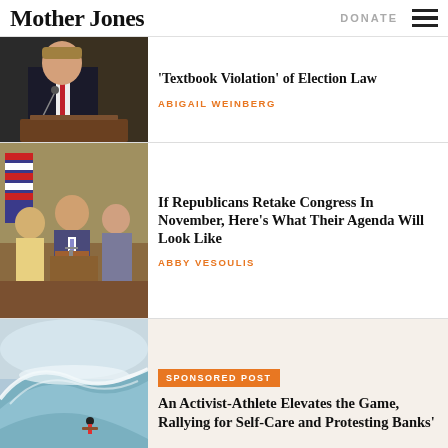Mother Jones | DONATE
[Figure (photo): Man in suit with red tie speaking at a podium with microphones]
'Textbook Violation' of Election Law
ABIGAIL WEINBERG
[Figure (photo): Three politicians standing at a podium with American flags in background]
If Republicans Retake Congress In November, Here's What Their Agenda Will Look Like
ABBY VESOULIS
[Figure (photo): Surfer riding a massive ocean wave]
SPONSORED POST
An Activist-Athlete Elevates the Game, Rallying for Self-Care and Protesting Banks'